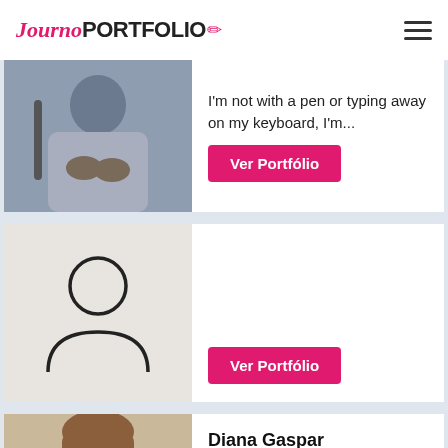JournoPORTFOLIO
I'm not with a pen or typing away on my keyboard, I'm...
Ver Portfólio
[Figure (illustration): Placeholder person silhouette icon on beige background]
Ver Portfólio
Diana Gaspar
Welcome 👋 to my very short collection of written work
[Figure (photo): Photo of a young woman with long brown hair, headshot, professional]